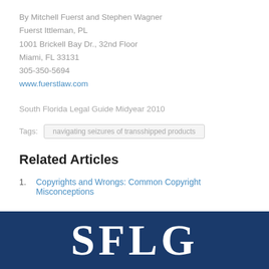By Mitchell Fuerst and Stephen Wagner
Fuerst Ittleman, PL
1001 Brickell Bay Dr., 32nd Floor
Miami, FL 33131
305-350-5694
www.fuerstlaw.com
South Florida Legal Guide Midyear 2010
Tags:  navigating seizures of transshipped products
Related Articles
Copyrights and Wrongs: Common Copyright Misconceptions
SFLG